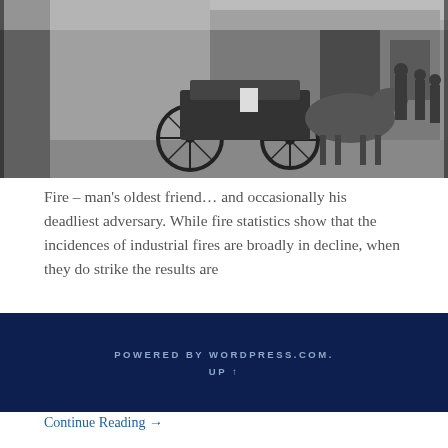[Figure (photo): Black and white historical photograph showing a horse-drawn carriage or fire wagon on a street, with people standing in the background near a building.]
Fire – man's oldest friend… and occasionally his deadliest adversary. While fire statistics show that the incidences of industrial fires are broadly in decline, when they do strike the results are
POWERED BY WORDPRESS.COM.
UP ↑
Continue Reading →